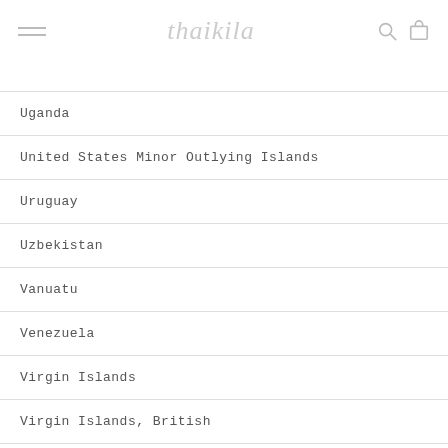thaikila
Uganda
United States Minor Outlying Islands
Uruguay
Uzbekistan
Vanuatu
Venezuela
Virgin Islands
Virgin Islands, British
Wallis And Futuna
Western Sahara
Yemen
Zambia